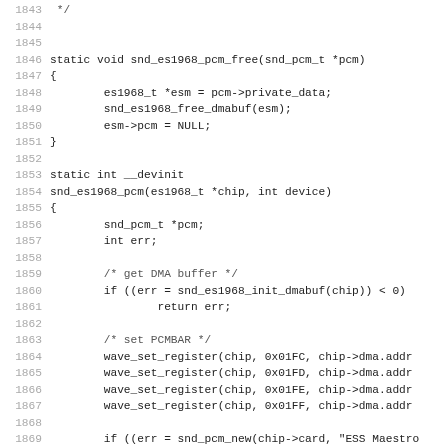Source code listing, lines 1843-1875, C programming language
1843  */
1844
1845  static void snd_es1968_pcm_free(snd_pcm_t *pcm)
1846  {
1847          es1968_t *esm = pcm->private_data;
1848          snd_es1968_free_dmabuf(esm);
1849          esm->pcm = NULL;
1850  }
1851
1852  static int __devinit
1853  snd_es1968_pcm(es1968_t *chip, int device)
1854  {
1855          snd_pcm_t *pcm;
1856          int err;
1857
1858          /* get DMA buffer */
1859          if ((err = snd_es1968_init_dmabuf(chip)) < 0)
1860                  return err;
1861
1862          /* set PCMBAR */
1863          wave_set_register(chip, 0x01FC, chip->dma.addr
1864          wave_set_register(chip, 0x01FD, chip->dma.addr
1865          wave_set_register(chip, 0x01FE, chip->dma.addr
1866          wave_set_register(chip, 0x01FF, chip->dma.addr
1867
1868          if ((err = snd_pcm_new(chip->card, "ESS Maestro
1869                          chip->playback_streams,
1870                          chip->capture_streams, &
1871          return err;
1872
1873          pcm->private_data = chip;
1874          pcm->private_free = snd_es1968_pcm_free;